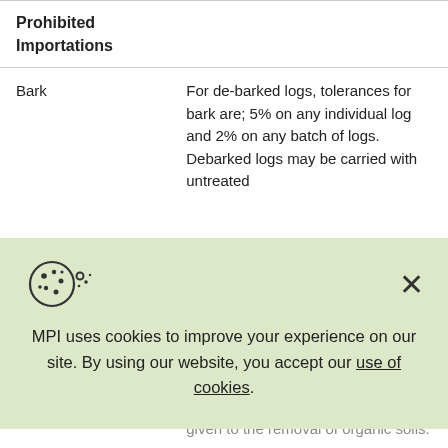| Prohibited Importations |  |
| --- | --- |
| Bark | For de-barked logs, tolerances for bark are; 5% on any individual log and 2% on any batch of logs. Debarked logs may be carried with untreated |
|  | given to the removal of organic soils. |
[Figure (screenshot): Cookie consent overlay with cookie icon, close button (X), and message: MPI uses cookies to improve your experience on our site. By using our website, you accept our use of cookies.]